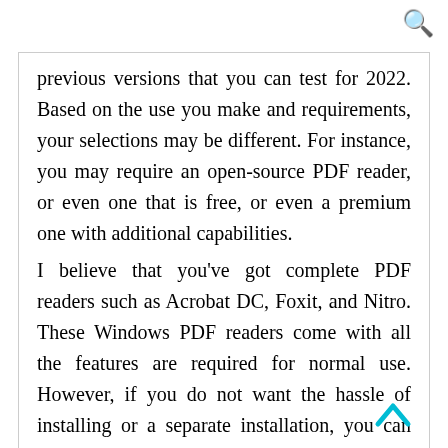previous versions that you can test for 2022. Based on the use you make and requirements, your selections may be different. For instance, you may require an open-source PDF reader, or even one that is free, or even a premium one with additional capabilities.
I believe that you've got complete PDF readers such as Acrobat DC, Foxit, and Nitro. These Windows PDF readers come with all the features are required for normal use. However, if you do not want the hassle of installing or a separate installation, you can use the PDF reader to your web